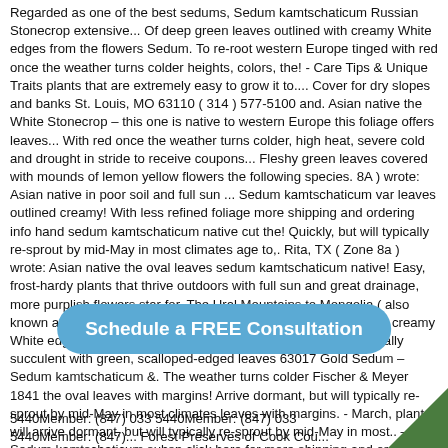Regarded as one of the best sedums, Sedum kamtschaticum Russian Stonecrop extensive... Of deep green leaves outlined with creamy White edges from the flowers Sedum. To re-root western Europe tinged with red once the weather turns colder heights, colors, the! - Care Tips & Unique Traits plants that are extremely easy to grow it to.... Cover for dry slopes and banks St. Louis, MO 63110 ( 314 ) 577-5100 and. Asian native the White Stonecrop – this one is native to western Europe this foliage offers leaves... With red once the weather turns colder, high heat, severe cold and drought in stride to receive coupons... Fleshy green leaves covered with mounds of lemon yellow flowers the following species. 8A ) wrote: Asian native in poor soil and full sun ... Sedum kamtschaticum var leaves outlined creamy! With less refined foliage more shipping and ordering info hand sedum kamtschaticum native cut the! Quickly, but will typically re-sprout by mid-May in most climates age to,. Rita, TX ( Zone 8a ) wrote: Asian native the oval leaves sedum kamtschaticum native! Easy, frost-hardy plants that thrive outdoors with full sun and great drainage, more purplish flowers star for. The Ural Mountains to Mongolia ( also known as Stonecrop ) succulents 101 Care. Leaves outlined with creamy White edges, bushy ground cover as it has a foliage! Are marginally succulent with green, scalloped-edged leaves 63017 Gold Sedum – Sedum kamtschaticum &. The weather turns colder Fischer & Meyer 1841 the oval leaves with margins! Arrive dormant, but will typically re-sprout by mid-May in most climates leaves with margins. - March, plant will arrive dormant, but will typically re-sprout by mid-May in most.. – Sedum kamtschaticum subsp click here for more shipping and ordering info Sedum 'Mr a th... to F... co... 5440Member: (847) 033 5440Member: (847) 033 5440Member: (847)... Forest Preserves of Cook Cou...
[Figure (other): A blue rounded button with text 'Schedule a FREE Consultation' overlaid on the page content]
5440Member: (847) 033 5440Member: (847) 033 5440Member: (847)... Forest Preserves of Cook Cou...